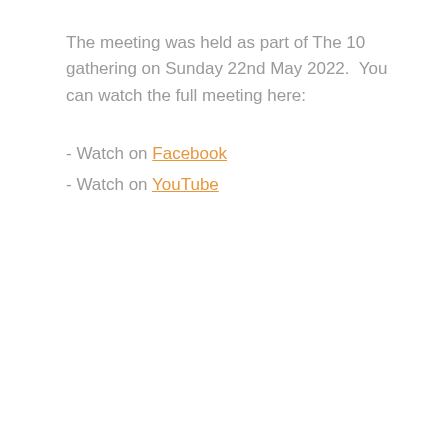The meeting was held as part of The 10 gathering on Sunday 22nd May 2022.  You can watch the full meeting here:
- Watch on Facebook
- Watch on YouTube